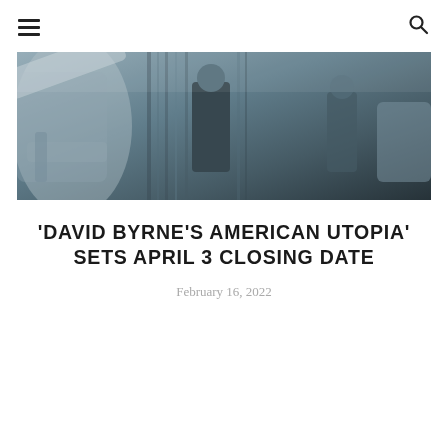☰  🔍
[Figure (photo): Black and white / dark-toned photo of performers on stage, figures in dark suits, blurred foreground elements suggesting musical instruments]
'DAVID BYRNE'S AMERICAN UTOPIA' SETS APRIL 3 CLOSING DATE
February 16, 2022